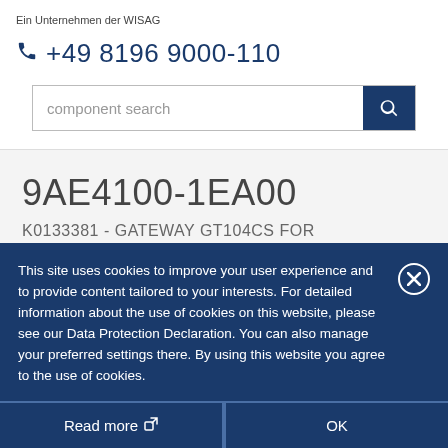Ein Unternehmen der WISAG
+49 8196 9000-110
component search
9AE4100-1EA00
K0133381 - GATEWAY GT104CS FOR
This site uses cookies to improve your user experience and to provide content tailored to your interests. For detailed information about the use of cookies on this website, please see our Data Protection Declaration. You can also manage your preferred settings there. By using this website you agree to the use of cookies.
Read more
OK